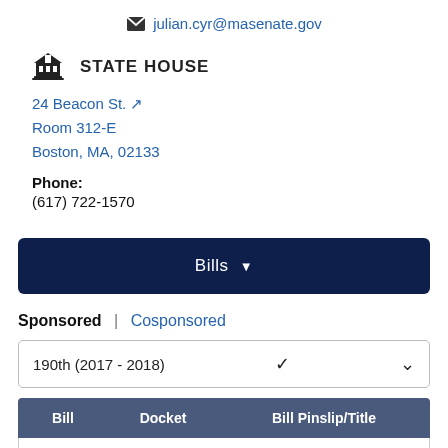julian.cyr@masenate.gov
STATE HOUSE
24 Beacon St.
Room 312-E
Boston, MA, 02133
Phone:
(617) 722-1570
Bills
Sponsored | Cosponsored
190th (2017 - 2018)
| Bill | Docket | Bill Pinslip/Title |
| --- | --- | --- |